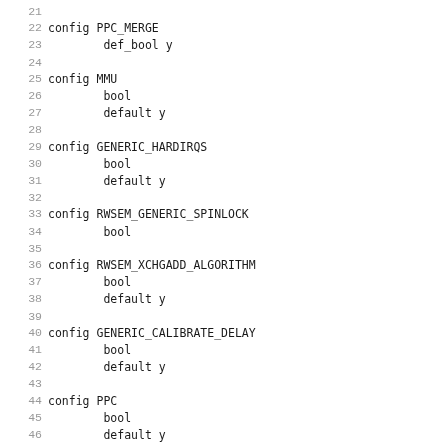21
22 config PPC_MERGE
23         def_bool y
24
25 config MMU
26         bool
27         default y
28
29 config GENERIC_HARDIRQS
30         bool
31         default y
32
33 config RWSEM_GENERIC_SPINLOCK
34         bool
35
36 config RWSEM_XCHGADD_ALGORITHM
37         bool
38         default y
39
40 config GENERIC_CALIBRATE_DELAY
41         bool
42         default y
43
44 config PPC
45         bool
46         default y
47
48 config EARLY_PRINTK
49         bool
50         default y
51
52 config COMPAT
53         bool